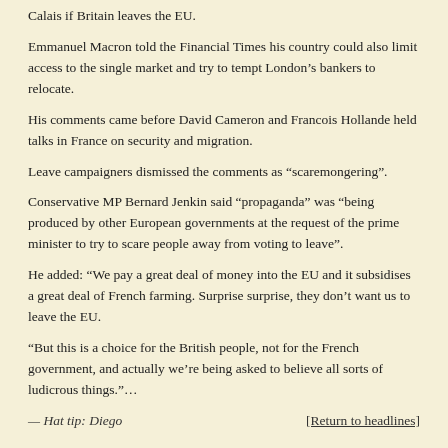Calais if Britain leaves the EU.
Emmanuel Macron told the Financial Times his country could also limit access to the single market and try to tempt London’s bankers to relocate.
His comments came before David Cameron and Francois Hollande held talks in France on security and migration.
Leave campaigners dismissed the comments as “scaremongering”.
Conservative MP Bernard Jenkin said “propaganda” was “being produced by other European governments at the request of the prime minister to try to scare people away from voting to leave”.
He added: “We pay a great deal of money into the EU and it subsidises a great deal of French farming. Surprise surprise, they don’t want us to leave the EU.
“But this is a choice for the British people, not for the French government, and actually we’re being asked to believe all sorts of ludicrous things.”…
— Hat tip: Diego    [Return to headlines]